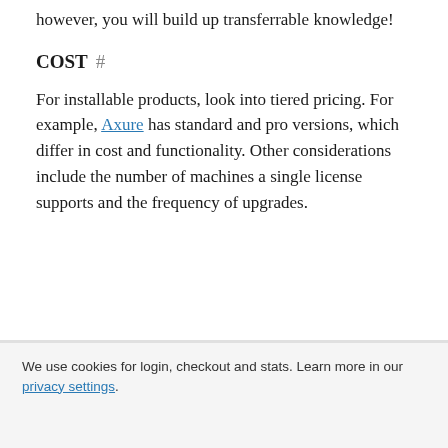however, you will build up transferrable knowledge!
COST #
For installable products, look into tiered pricing. For example, Axure has standard and pro versions, which differ in cost and functionality. Other considerations include the number of machines a single license supports and the frequency of upgrades.
We use cookies for login, checkout and stats. Learn more in our privacy settings.